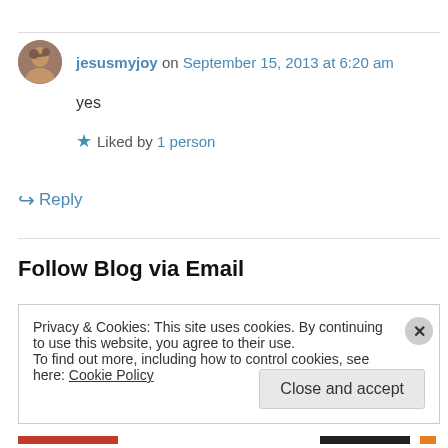jesusmyjoy on September 15, 2013 at 6:20 am
yes
★ Liked by 1 person
↪ Reply
Follow Blog via Email
Privacy & Cookies: This site uses cookies. By continuing to use this website, you agree to their use.
To find out more, including how to control cookies, see here: Cookie Policy
Close and accept